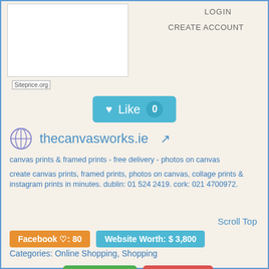[Figure (screenshot): Partial screenshot of a website showing LOGIN and CREATE ACCOUNT navigation options, with a Siteprice.org watermark]
[Figure (other): Like button with heart icon showing count 0, teal/cyan colored]
thecanvasworks.ie [external link icon]
canvas prints & framed prints - free delivery - photos on canvas
create canvas prints, framed prints, photos on canvas, collage prints & instagram prints in minutes. dublin: 01 524 2419. cork: 021 4700972.
Scroll Top
Facebook ♡: 80
Website Worth: $ 3,800
Categories: Online Shopping, Shopping
Is it similar?
Yes 0
No 0